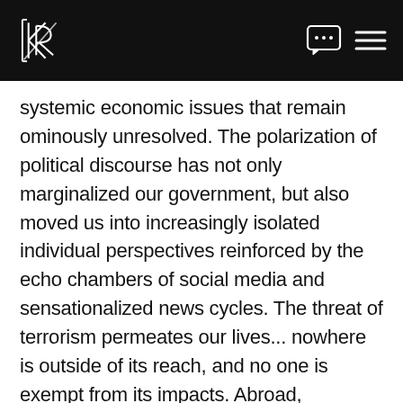KR logo with navigation icons
systemic economic issues that remain ominously unresolved. The polarization of political discourse has not only marginalized our government, but also moved us into increasingly isolated individual perspectives reinforced by the echo chambers of social media and sensationalized news cycles. The threat of terrorism permeates our lives... nowhere is outside of its reach, and no one is exempt from its impacts. Abroad, countless human tragedies are unfolding in the midst of economic and